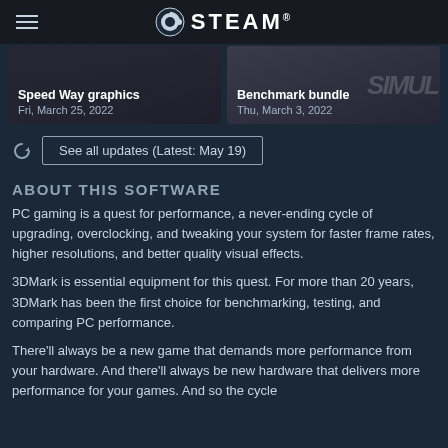STEAM
[Figure (screenshot): Two news/update cards: 'Speed Way graphics' dated Fri, March 25, 2022 and 'Benchmark bundle' dated Thu, March 3, 2022]
See all updates (Latest: May 19)
ABOUT THIS SOFTWARE
PC gaming is a quest for performance, a never-ending cycle of upgrading, overclocking, and tweaking your system for faster frame rates, higher resolutions, and better quality visual effects.
3DMark is essential equipment for this quest. For more than 20 years, 3DMark has been the first choice for benchmarking, testing, and comparing PC performance.
There'll always be a new game that demands more performance from your hardware. And there'll always be new hardware that delivers more performance for your games. And so the cycle